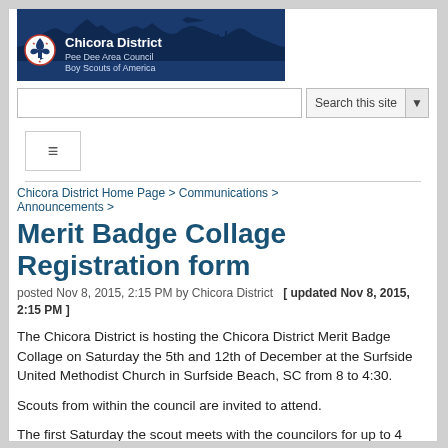[Figure (logo): Chicora District, Pee Dee Area Council, Boy Scouts of America header banner with landscape silhouette and BSA fleur-de-lis logo]
[Figure (screenshot): Search this site input field and button]
[Figure (screenshot): Navigation hamburger menu button]
Chicora District Home Page > Communications > Announcements >
Merit Badge Collage Registration form
posted Nov 8, 2015, 2:15 PM by Chicora District  [ updated Nov 8, 2015, 2:15 PM ]
The Chicora District is hosting the Chicora District Merit Badge Collage on Saturday the 5th and 12th of December at the Surfside United Methodist Church in Surfside Beach, SC from 8 to 4:30.
Scouts from within the council are invited to attend.
The first Saturday the scout meets with the councilors for up to 4 classes. Councilors will spend 2 hours in each class with